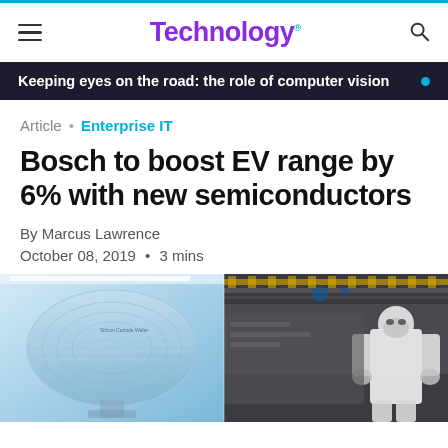Technology
Keeping eyes on the road: the role of computer vision
Article • Enterprise IT
Bosch to boost EV range by 6% with new semiconductors
By Marcus Lawrence
October 08, 2019 • 3 mins
[Figure (photo): Semiconductor cleanroom photo split into two panels: left showing silicon carbide wafers in blue-tinted light, right showing a worker in white protective suit in a manufacturing facility with yellow overhead lighting.]